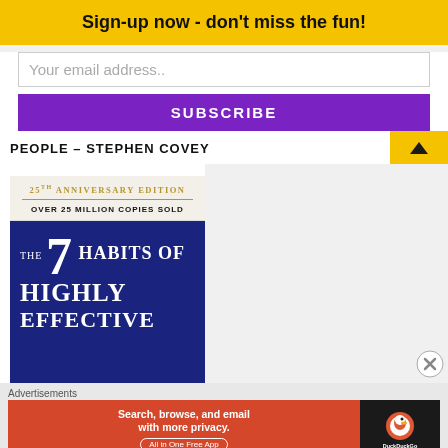Sign-up now - don't miss the fun!
Your email address..
SUBSCRIBE
PEOPLE – STEPHEN COVEY
[Figure (photo): Book cover of 'The 7 Habits of Highly Effective People' 25th Anniversary Edition, over 25 million copies sold, dark blue background with large white text]
Advertisements
[Figure (screenshot): DuckDuckGo advertisement: 'Search, browse, and email with more privacy. All in One Free App' on orange background with DuckDuckGo logo on dark background]